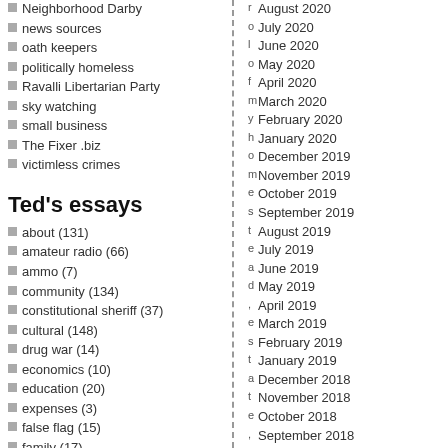Neighborhood Darby
news sources
oath keepers
politically homeless
Ravalli Libertarian Party
sky watching
small business
The Fixer .biz
victimless crimes
Ted's essays
about (131)
amateur radio (66)
ammo (7)
community (134)
constitutional sheriff (37)
cultural (148)
drug war (14)
economics (10)
education (20)
expenses (3)
false flag (15)
family (17)
farm and garden (43)
fascism (24)
geoengineering (20)
governor (19)
August 2020
July 2020
June 2020
May 2020
April 2020
March 2020
February 2020
January 2020
December 2019
November 2019
October 2019
September 2019
August 2019
July 2019
June 2019
May 2019
April 2019
March 2019
February 2019
January 2019
December 2018
November 2018
October 2018
September 2018
August 2018
July 2018